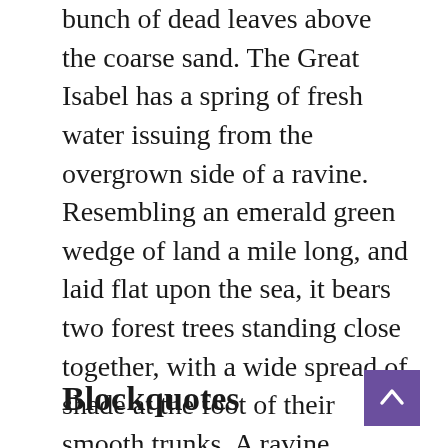bunch of dead leaves above the coarse sand. The Great Isabel has a spring of fresh water issuing from the overgrown side of a ravine. Resembling an emerald green wedge of land a mile long, and laid flat upon the sea, it bears two forest trees standing close together, with a wide spread of shade at the foot of their smooth trunks. A ravine extending the whole length of the island is full of bushes; and presenting a deep tangled cleft on the high side spreads itself out on the other into a shallow depression abutting on a small strip of sandy shore.
Blockquotes